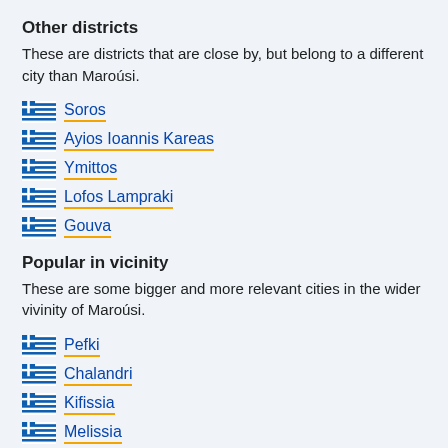Other districts
These are districts that are close by, but belong to a different city than Maroúsi.
Soros
Ayios Ioannis Kareas
Ymittos
Lofos Lampraki
Gouva
Popular in vicinity
These are some bigger and more relevant cities in the wider vivinity of Maroúsi.
Pefki
Chalandri
Kifissia
Melissia
Vrilissia
Irakleio